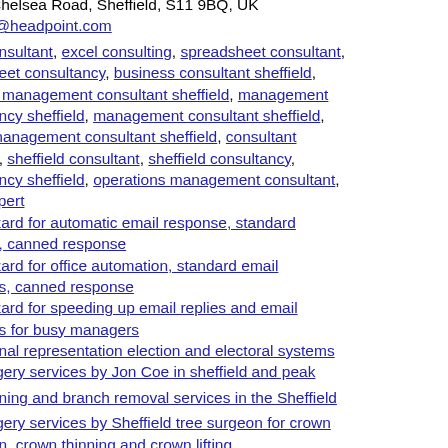Chelsea Road, Sheffield, S11 9BQ, UK
t@headpoint.com
consultant, excel consulting, spreadsheet consultant,
sheet consultancy, business consultant sheffield,
s management consultant sheffield, management
ancy sheffield, management consultant sheffield,
management consultant sheffield, consultant
d, sheffield consultant, sheffield consultancy,
ancy sheffield, operations management consultant,
xpert
izard for automatic email response, standard
e, canned response
izard for office automation, standard email
es, canned response
izard for speeding up email replies and email
es for busy managers
onal representation election and electoral systems
rgery services by Jon Coe in sheffield and peak
uning and branch removal services in the Sheffield
rgery services by Sheffield tree surgeon for crown
on, crown thinning and crown lifting
rgeon services for Peak District for tree pruning and
ng